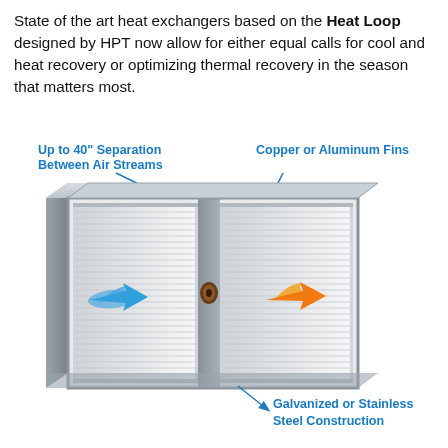State of the art heat exchangers based on the Heat Loop designed by HPT now allow for either equal calls for cool and heat recovery or optimizing thermal recovery in the season that matters most.
[Figure (engineering-diagram): 3D illustration of a dual-coil heat exchanger unit with labeled components: 'Up to 40" Separation Between Air Streams' (blue label, top-left), 'Copper or Aluminum Fins' (blue label, top-right with arrow), 'Galvanized or Stainless Steel Construction' (blue label, bottom-right with arrow). The unit shows two finned coil sections separated by a center divider, with a blue arrow (cool airflow) on the left coil and an orange arrow (warm airflow) on the right coil.]